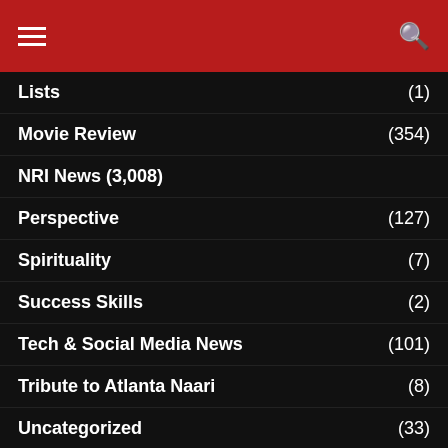Navigation menu with hamburger icon and search icon
Lists (1)
Movie Review (354)
NRI News (3,008)
Perspective (127)
Spirituality (7)
Success Skills (2)
Tech & Social Media News (101)
Tribute to Atlanta Naari (8)
Uncategorized (33)
Upcoming Events (153)
Upcoming Events (66)
What's Cooking? ( )
Women (1)
Youth (8)